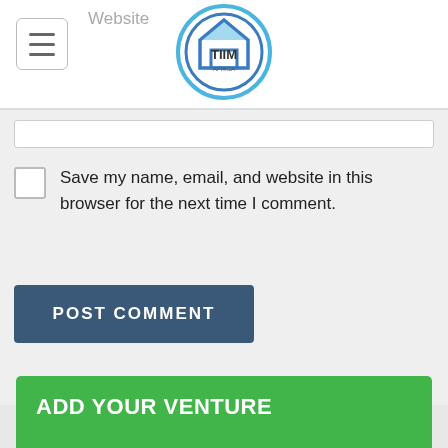Website
[Figure (screenshot): TIIM Africa logo — circular badge with house icon, blue and grey ring]
Save my name, email, and website in this browser for the next time I comment.
POST COMMENT
ADD YOUR VENTURE
Promote your venture, find a mentor and raise a round of finance!